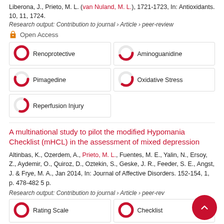Liberona, J., Prieto, M. L. (van Nuland, M. L.), 1721-1723, In: Antioxidants. 10, 11, 1724.
Research output: Contribution to journal › Article › peer-review
Open Access
Renoprotective
Aminoguanidine
Pimagedine
Oxidative Stress
Reperfusion Injury
A multinational study to pilot the modified Hypomania Checklist (mHCL) in the assessment of mixed depression
Altinbas, K., Ozerdem, A., Prieto, M. L., Fuentes, M. E., Yalin, N., Ersoy, Z., Aydemir, O., Quiroz, D., Oztekin, S., Geske, J. R., Feeder, S. E., Angst, J. & Frye, M. A., Jan 2014, In: Journal of Affective Disorders. 152-154, 1, p. 478-482 5 p.
Research output: Contribution to journal › Article › peer-rev
Rating Scale
Checklist